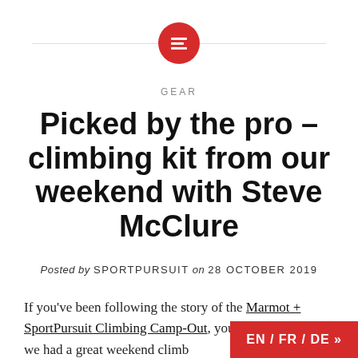[Figure (logo): Red circle logo with horizontal lines icon, positioned centered with a thin horizontal rule behind it]
GEAR
Picked by the pro – climbing kit from our weekend with Steve McClure
Posted by SPORTPURSUIT on 28 OCTOBER 2019
If you've been following the story of the Marmot + SportPursuit Climbing Camp-Out, you'll have seen that we had a great weekend climbing in the Lake District with Steve McClure, one of
EN / FR / DE »